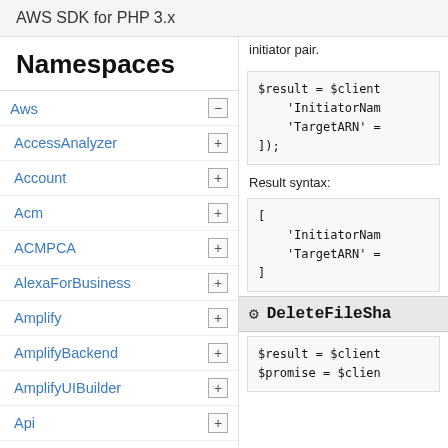AWS SDK for PHP 3.x
Namespaces
Aws
AccessAnalyzer
Account
Acm
ACMPCA
AlexaForBusiness
Amplify
AmplifyBackend
AmplifyUIBuilder
Api
ApiGateway
ApiGatewayManagementApi
initiator pair.
[Figure (screenshot): Code block showing: $result = $client \n    'InitiatorNam \n    'TargetARN' = \n]);]
Result syntax:
[Figure (screenshot): Code block showing: [ \n    'InitiatorNam \n    'TargetARN' = \n]]
DeleteFileSha
[Figure (screenshot): Code block showing: $result = $client \n$promise = $clien]